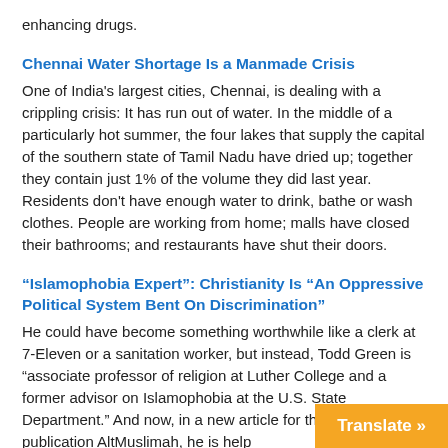enhancing drugs.
Chennai Water Shortage Is a Manmade Crisis
One of India's largest cities, Chennai, is dealing with a crippling crisis: It has run out of water. In the middle of a particularly hot summer, the four lakes that supply the capital of the southern state of Tamil Nadu have dried up; together they contain just 1% of the volume they did last year. Residents don't have enough water to drink, bathe or wash clothes. People are working from home; malls have closed their bathrooms; and restaurants have shut their doors.
“Islamophobia Expert”: Christianity Is “An Oppressive Political System Bent On Discrimination”
He could have become something worthwhile like a clerk at 7-Eleven or a sanitation worker, but instead, Todd Green is “associate professor of religion at Luther College and a former advisor on Islamophobia at the U.S. State Department.” And now, in a new article for the Muslim online publication AltMuslimah, he is help